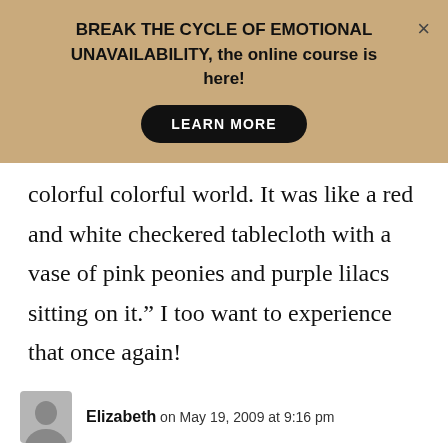BREAK THE CYCLE OF EMOTIONAL UNAVAILABILITY, the online course is here!
colorful colorful world. It was like a red and white checkered tablecloth with a vase of pink peonies and purple lilacs sitting on it.” I too want to experience that once again!
Elizabeth on May 19, 2009 at 9:16 pm
Betteroffwithouthim: Yes, I would give anything to go back to that